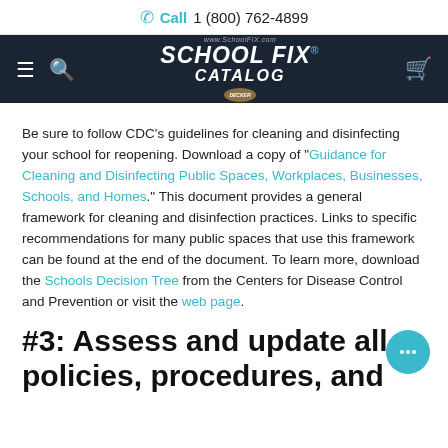Call 1 (800) 762-4899
[Figure (logo): School Fix Catalog logo with Decker badge on dark navy background with hamburger menu, search, and cart icons]
Be sure to follow CDC's guidelines for cleaning and disinfecting your school for reopening. Download a copy of "Guidance for Cleaning and Disinfecting Public Spaces, Workplaces, Businesses, Schools, and Homes." This document provides a general framework for cleaning and disinfection practices. Links to specific recommendations for many public spaces that use this framework can be found at the end of the document. To learn more, download the Schools Decision Tree from the Centers for Disease Control and Prevention or visit the web page.
#3: Assess and update all policies, procedures, and